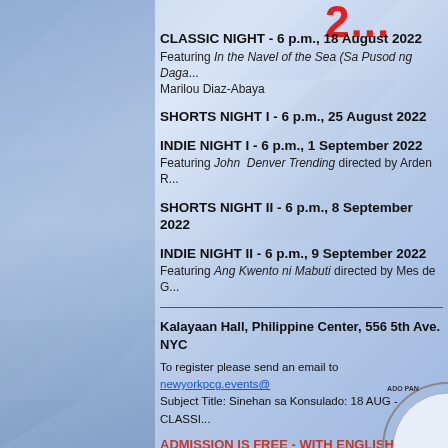CLASSIC NIGHT - 6 p.m., 18 August 2022
Featuring In the Navel of the Sea (Sa Pusod ng Daga... Marilou Diaz-Abaya
SHORTS NIGHT I - 6 p.m., 25 August 2022
INDIE NIGHT I - 6 p.m., 1 September 2022
Featuring John Denver Trending directed by Arden R...
SHORTS NIGHT II - 6 p.m., 8 September 2022
INDIE NIGHT II - 6 p.m., 9 September 2022
Featuring Ang Kwento ni Mabuti directed by Mes de G...
Kalayaan Hall, Philippine Center, 556 5th Ave. NYC
To register please send an email to newyorkpcg.events@
Subject Title: Sinehan sa Konsulado: 18 AUG - CLASSI...
ADMISSION IS FREE - WITH ENGLISH SUBTITLES - SEATS ARE LIMITED